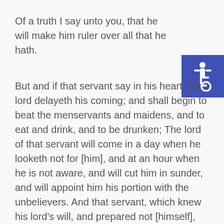Of a truth I say unto you, that he will make him ruler over all that he hath.
[Figure (logo): Accessibility icon — white wheelchair symbol on blue square background]
But and if that servant say in his heart, My lord delayeth his coming; and shall begin to beat the menservants and maidens, and to eat and drink, and to be drunken; The lord of that servant will come in a day when he looketh not for [him], and at an hour when he is not aware, and will cut him in sunder, and will appoint him his portion with the unbelievers. And that servant, which knew his lord's will, and prepared not [himself], neither did according to his will, shall be beaten with many [stripes]. But he that knew not, and did commit things worthy of stripes, shall be beaten with few [stripes]. For unto whomsoever much is given